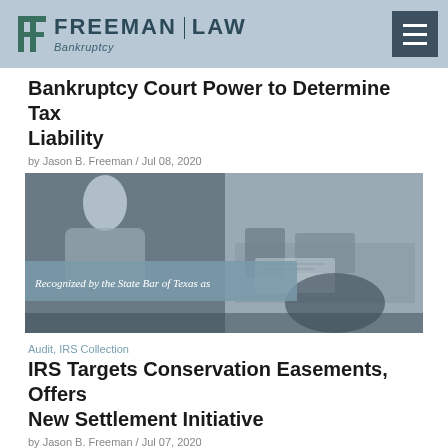FREEMAN LAW | Bankruptcy
Bankruptcy Court Power to Determine Tax Liability
by Jason B. Freeman / Jul 08, 2020
[Figure (photo): Black and white photo of professionals working at a desk, with a blue-tinted overlay banner reading 'Recognized by the State Bar of Texas as']
Audit, IRS Collection
IRS Targets Conservation Easements, Offers New Settlement Initiative
by Jason B. Freeman / Jul 07, 2020